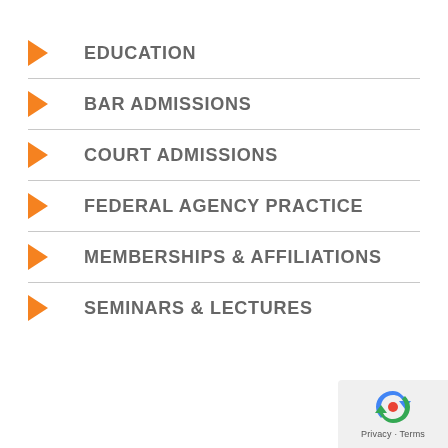EDUCATION
BAR ADMISSIONS
COURT ADMISSIONS
FEDERAL AGENCY PRACTICE
MEMBERSHIPS & AFFILIATIONS
SEMINARS & LECTURES